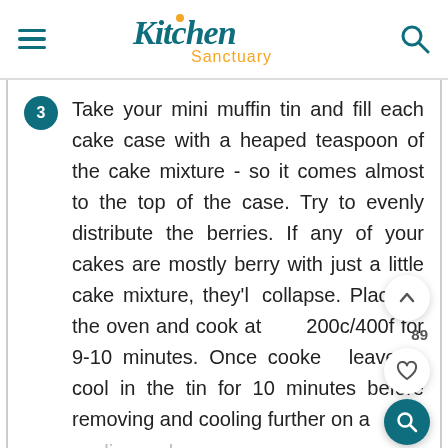Kitchen Sanctuary
3  Take your mini muffin tin and fill each cake case with a heaped teaspoon of the cake mixture - so it comes almost to the top of the case. Try to evenly distribute the berries. If any of your cakes are mostly berry with just a little cake mixture, they'll collapse. Place in the oven and cook at 200c/400f for 9-10 minutes. Once cooked, leave to cool in the tin for 10 minutes before removing and cooling further on a cooling rack.